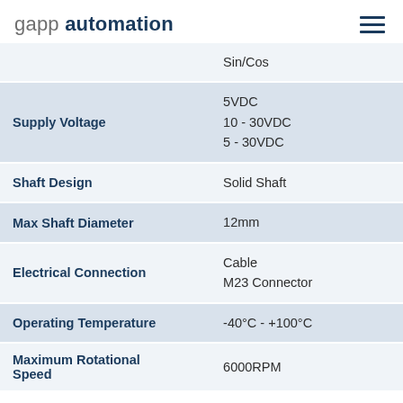gapp automation
| Property | Value |
| --- | --- |
|  | Sin/Cos |
| Supply Voltage | 5VDC
10 - 30VDC
5 - 30VDC |
| Shaft Design | Solid Shaft |
| Max Shaft Diameter | 12mm |
| Electrical Connection | Cable
M23 Connector |
| Operating Temperature | -40°C - +100°C |
| Maximum Rotational Speed | 6000RPM |